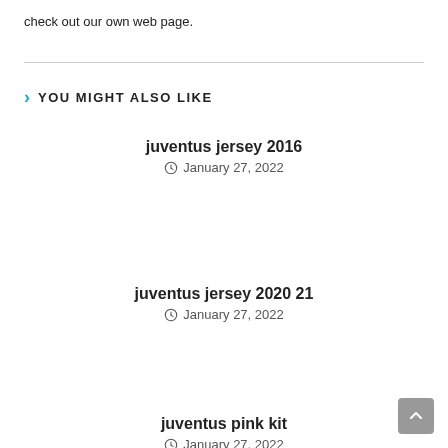check out our own web page.
YOU MIGHT ALSO LIKE
juventus jersey 2016
January 27, 2022
juventus jersey 2020 21
January 27, 2022
juventus pink kit
January 27, 2022